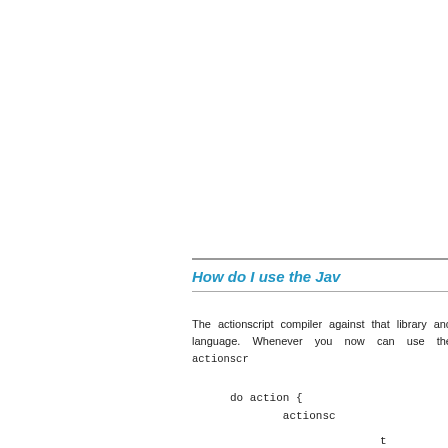How do I use the Jav
The actionscript compiler against that library and language. Whenever you now can use the actionscr
do action {
        actionsc